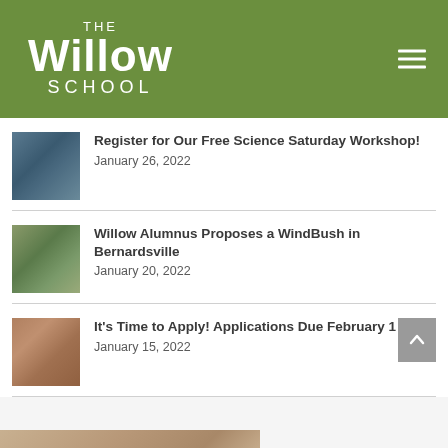[Figure (logo): The Willow School logo in white text on olive green background with hamburger menu icon]
Register for Our Free Science Saturday Workshop!
January 26, 2022
Willow Alumnus Proposes a WindBush in Bernardsville
January 20, 2022
It's Time to Apply! Applications Due February 1
January 15, 2022
Apply Fall 2022